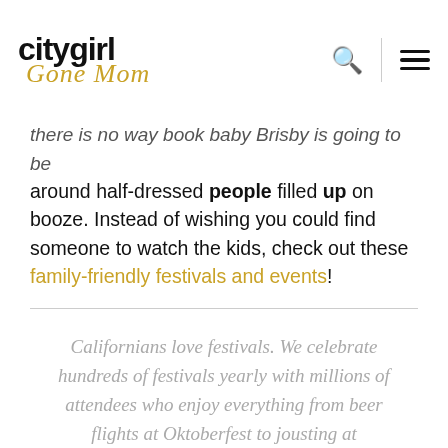city girl Gone Mom
there is no way book baby Brisby is going to be around half-dressed people filled up on booze. Instead of wishing you could find someone to watch the kids, check out these family-friendly festivals and events!
Californians love festivals. We celebrate hundreds of festivals yearly with millions of attendees who enjoy everything from beer flights at Oktoberfest to jousting at Renaissance fairs.